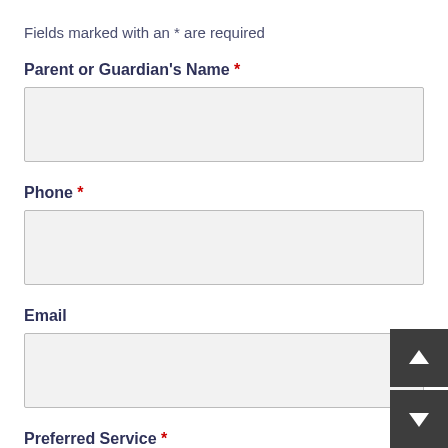Fields marked with an * are required
Parent or Guardian's Name *
[Figure (other): Empty text input field for Parent or Guardian's Name]
Phone *
[Figure (other): Empty text input field for Phone]
Email
[Figure (other): Empty text input field for Email]
Preferred Service *
Schedule a screening in our Orland Park